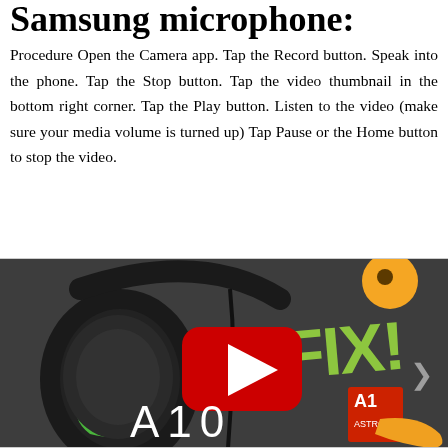Samsung microphone:
Procedure Open the Camera app. Tap the Record button. Speak into the phone. Tap the Stop button. Tap the video thumbnail in the bottom right corner. Tap the Play button. Listen to the video (make sure your media volume is turned up) Tap Pause or the Home button to stop the video.
[Figure (screenshot): YouTube video thumbnail showing a gaming headset (Astro A10) with green 'FIX!' text overlay and a YouTube play button in the center]